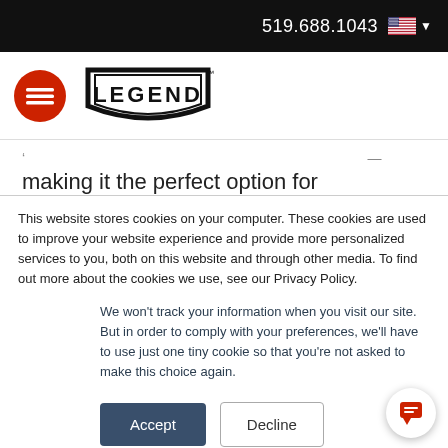519.688.1043
[Figure (logo): Legend logo with hamburger menu icon]
making it the perfect option for vehicles loaded by forklifts
This website stores cookies on your computer. These cookies are used to improve your website experience and provide more personalized services to you, both on this website and through other media. To find out more about the cookies we use, see our Privacy Policy.
We won't track your information when you visit our site. But in order to comply with your preferences, we'll have to use just one tiny cookie so that you're not asked to make this choice again.
Accept
Decline